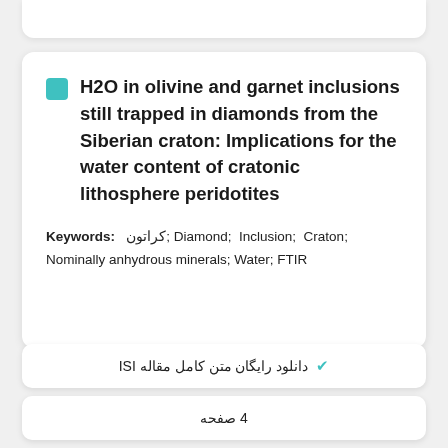H2O in olivine and garnet inclusions still trapped in diamonds from the Siberian craton: Implications for the water content of cratonic lithosphere peridotites
Keywords: کراتون; Diamond; Inclusion; Craton; Nominally anhydrous minerals; Water; FTIR
✔ دانلود رایگان متن کامل مقاله ISI
4 صفحه